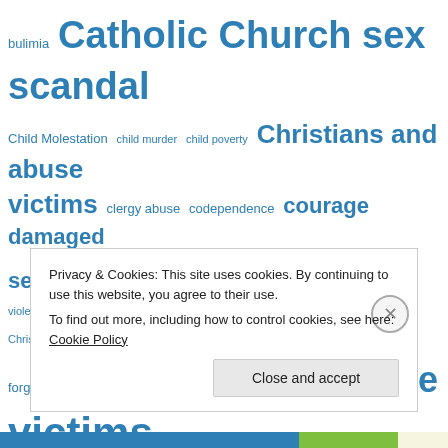[Figure (infographic): Tag/word cloud with blue terms related to abuse, faith, mental health topics. Largest terms include 'Catholic Church sex scandal', 'God's love for abuse victims', 'depression', 'damaged self-esteem', 'courage', 'faith', 'failure', 'forgiveness', 'good v. evil', 'grooming', 'guilt', 'Christians and abuse victims', 'clergy abuse', 'codependence', 'despair', 'domestic violence in Christian marriage', 'eating disorders', 'financial abuse', 'child poverty', 'child murder', 'Child Molestation', 'bulimia', 'God's plan for our lives'.]
Privacy & Cookies: This site uses cookies. By continuing to use this website, you agree to their use.
To find out more, including how to control cookies, see here: Cookie Policy
Close and accept